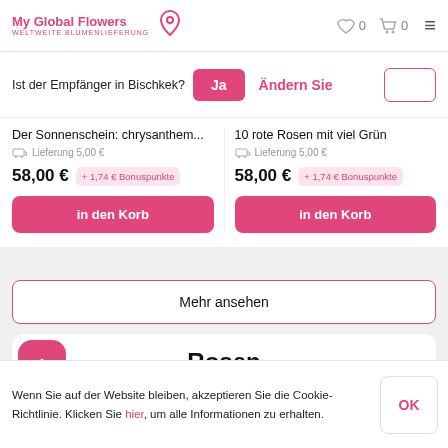My Global Flowers WELTWEITE BLUMENLIEFERUNG
Ist der Empfänger in Bischkek? Ja Ändern Sie
Der Sonnenschein: chrysanthem...  Lieferung 5,00 €  58,00 €  + 1,74 € Bonuspunkte  in den Korb
10 rote Rosen mit viel Grün  Lieferung 5,00 €  58,00 €  + 1,74 € Bonuspunkte  in den Korb
Mehr ansehen
Rosen
Wenn Sie auf der Website bleiben, akzeptieren Sie die Cookie-Richtlinie. Klicken Sie hier, um alle Informationen zu erhalten.
OK